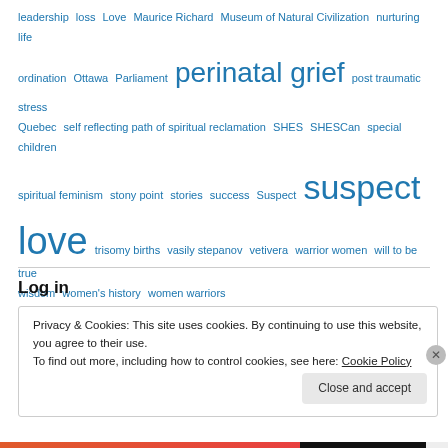leadership loss Love Maurice Richard Museum of Natural Civilization nurturing life ordination Ottawa Parliament perinatal grief post traumatic stress Quebec self reflecting path of spiritual reclamation SHES SHESCan special children spiritual feminism stony point stories success Suspect love trisomy births vasily stepanov vetivera warrior women will to be true wisdom women's history women warriors
Log in
Privacy & Cookies: This site uses cookies. By continuing to use this website, you agree to their use.
To find out more, including how to control cookies, see here: Cookie Policy
Close and accept